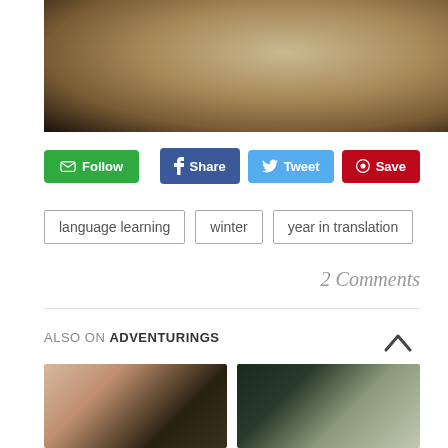[Figure (photo): Close-up photo of a person wearing a tan/brown woolen coat in a snowy winter setting]
✉ Follow   Share   Tweet   Save
language learning
winter
year in translation
2 Comments
ALSO ON ADVENTURINGS
[Figure (photo): Thumbnail photo of a person in a city with red-roofed buildings]
[Figure (photo): Thumbnail photo of a person with light hair against dark foliage with white flowers]